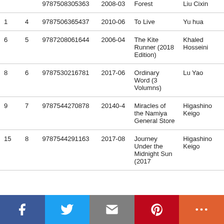|  |  | ISBN | Date | Title | Author |
| --- | --- | --- | --- | --- | --- |
|  |  | 9787508305363 | 2008-03 | Forest | Liu Cixin |
| 1 | 4 | 9787506365437 | 2010-06 | To Live | Yu hua |
| 6 | 5 | 9787208061644 | 2006-04 | The Kite Runner (2018 Edition) | Khaled Hosseini |
| 8 | 6 | 9787530216781 | 2017-06 | Ordinary Word (3 Volumns) | Lu Yao |
| 9 | 7 | 9787544270878 | 20140-4 | Miracles of the Namiya General Store | Higashino Keigo |
| 15 | 8 | 9787544291163 | 2017-08 | Journey Under the Midnight Sun (2017 | Higashino Keigo |